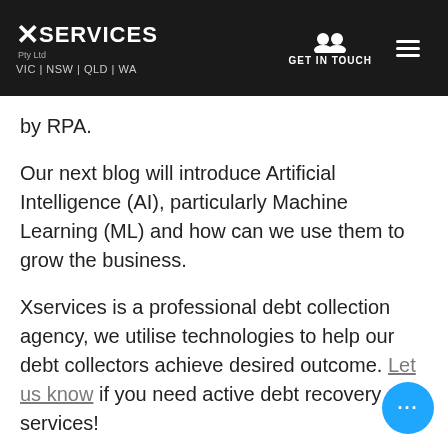X SERVICES Pty Ltd VIC | NSW | QLD | WA  GET IN TOUCH
by RPA.
Our next blog will introduce Artificial Intelligence (AI), particularly Machine Learning (ML) and how can we use them to grow the business.
Xservices is a professional debt collection agency, we utilise technologies to help our debt collectors achieve desired outcome. Let us know if you need active debt recovery services!
Xservice Debt Collection